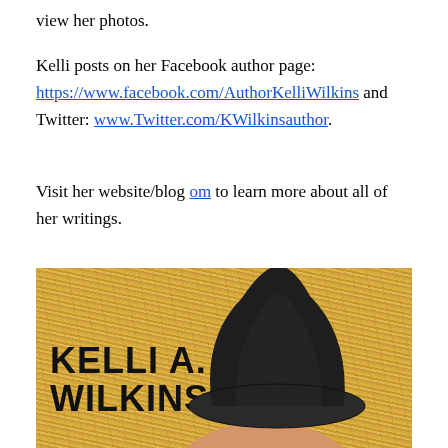view her photos.
Kelli posts on her Facebook author page: https://www.facebook.com/AuthorKelliWilkins and Twitter: www.Twitter.com/KWilkinsauthor.
Visit her website/blog om to learn more about all of her writings.
[Figure (photo): Book cover for Kelli A. Wilkins showing a shirtless man lying in hay wearing a dark cowboy hat, with bold text 'KELLI A. WILKINS' overlaid on the lower left.]